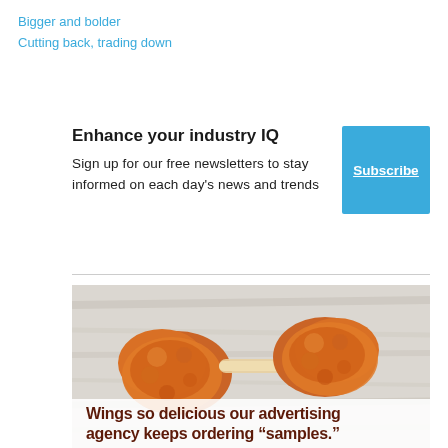Bigger and bolder
Cutting back, trading down
Enhance your industry IQ
Sign up for our free newsletters to stay informed on each day's news and trends
[Figure (other): Subscribe button — blue square with white underlined text 'Subscribe']
[Figure (photo): Two buffalo chicken wings on a light wood surface with orange sauce coating, with dark red bold text overlay: 'Wings so delicious our advertising agency keeps ordering "samples."']